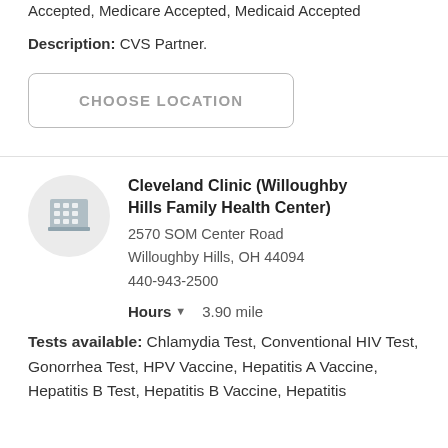Fee Information: Low Cost, Fee Based, Insurance Accepted, Medicare Accepted, Medicaid Accepted
Description: CVS Partner.
CHOOSE LOCATION
Cleveland Clinic (Willoughby Hills Family Health Center)
2570 SOM Center Road
Willoughby Hills, OH 44094
440-943-2500
Hours  3.90 mile
Tests available: Chlamydia Test, Conventional HIV Test, Gonorrhea Test, HPV Vaccine, Hepatitis A Vaccine, Hepatitis B Test, Hepatitis B Vaccine, Hepatitis